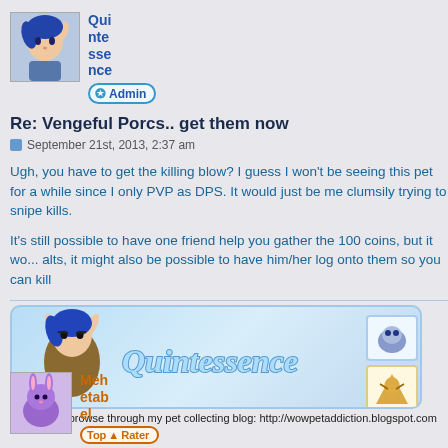[Figure (illustration): Avatar of a fantasy character (blue-haired elf) next to username 'Quintessence' with Admin badge]
Re: Vengeful Porcs.. get them now
September 21st, 2013, 2:37 am
Ugh, you have to get the killing blow? I guess I won't be seeing this pet for a while since I only PVP as DPS. It would just be me clumsily trying to snipe kills.
It's still possible to have one friend help you gather the 100 coins, but it won't be easy. If the friend has alts, it might also be possible to have him/her log onto them so you can kill
[Figure (illustration): Signature banner for Quintessence showing a fantasy character and stylized 'Quintessence' text logo with pet thumbnails]
Feel free to browse through my pet collecting blog: http://wowpetaddiction.blogspot.com
[Figure (illustration): Avatar of a purple rabbit next to username 'Mehetabel' with Top Rater badge]